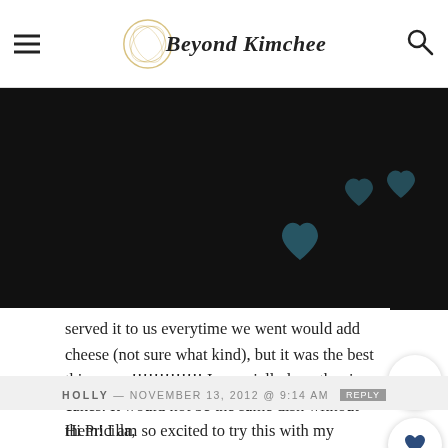Beyond Kimchee
[Figure (photo): Dark/black image area with decorative heart shapes visible in dark teal/navy color]
served it to us everytime we went would add cheese (not sure what kind), but it was the best thing ever!!!!!!!!!!!!! I especially love the rice cakes. It would not be the same dish without them! I am so excited to try this with my family. Thank you a million times for this!!!! Now I just need a cast iron skillet enought to feed about 6 people!!
HOLLY — NOVEMBER 13, 2012 @ 9:14 AM  REPLY
Hi Pricilla,